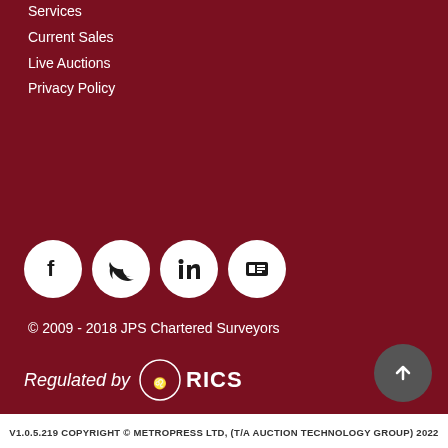Services
Current Sales
Live Auctions
Privacy Policy
[Figure (illustration): Social media icons: Facebook, Twitter, LinkedIn, and a news/RSS icon, each in a white circle on dark red background]
© 2009 - 2018 JPS Chartered Surveyors
[Figure (logo): Regulated by RICS logo with lion head icon]
We are a firm Regulated by the Royal Institution of Chartered Surveyors (RICS), guaranteeing you the upmost in standards of professional, ethical and business practice.
V1.0.5.219 COPYRIGHT © METROPRESS LTD, (T/A AUCTION TECHNOLOGY GROUP) 2022